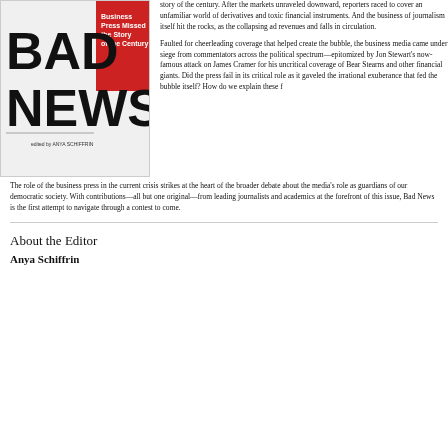[Figure (illustration): Book cover of 'Bad News: How the Business Press Missed the Story of the Century' edited by Anya Schiffrin, showing large bold black text 'BAD NEWS' on white background with red accent strip]
story of the century. After the markets unraveled downward, reporters raced to cover an unfamiliar world of derivatives and toxic financial instruments. And the business of journalism itself hit the rocks, as the collapsing ad revenues and falls in circulation.

Faulted for cheerleading coverage that helped create the bubble, the business media came under siege from commentators across the political spectrum—epitomized by Jon Stewart's now-famous attack on James Cramer for his uncritical coverage of Bear Stearns and other financial giants. Did the press fail in its critical role as it gaveled the irrational exuberance that fed the bubble itself? How do we explain these f
The role of the business press in the current crisis strikes at the heart of the broader debate about the media's role as guardians of our democratic society. With contributions—all but one original—from leading journalists and academics at the forefront of this issue, Bad News is the first attempt to navigate through a contest to come.
About the Editor
Anya Schiffrin